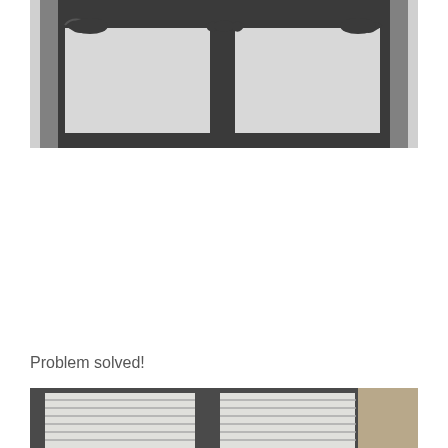[Figure (photo): A dark-painted cast iron or metal window/door frame with decorative scroll corners and two vertical pane openings, photographed against a light-colored wall background.]
Problem solved!
[Figure (photo): A dark metal sliding window or door frame with horizontal slats/blinds visible through the glass panes, photographed against a light exterior siding background.]